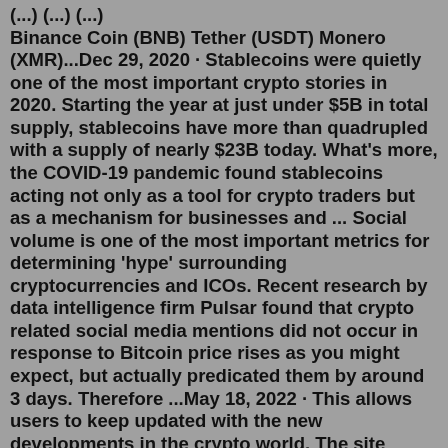(...) (...) (...) Binance Coin (BNB) Tether (USDT) Monero (XMR)...Dec 29, 2020 · Stablecoins were quietly one of the most important crypto stories in 2020. Starting the year at just under $5B in total supply, stablecoins have more than quadrupled with a supply of nearly $23B today. What's more, the COVID-19 pandemic found stablecoins acting not only as a tool for crypto traders but as a mechanism for businesses and ... Social volume is one of the most important metrics for determining 'hype' surrounding cryptocurrencies and ICOs. Recent research by data intelligence firm Pulsar found that crypto related social media mentions did not occur in response to Bitcoin price rises as you might expect, but actually predicated them by around 3 days. Therefore ...May 18, 2022 · This allows users to keep updated with the new developments in the crypto world. The site features news and stories on Bitcoin, Ethereum, Ripple, Litecoin, and a wide range of other important digital assets. It also covers stories regarding the